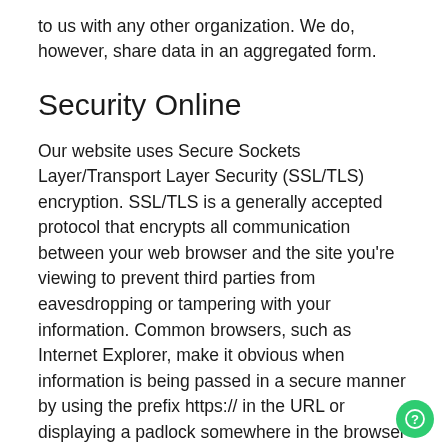to us with any other organization.  We do, however, share data in an aggregated form.
Security Online
Our website uses Secure Sockets Layer/Transport Layer Security (SSL/TLS) encryption. SSL/TLS is a generally accepted protocol that encrypts all communication between your web browser and the site you're viewing to prevent third parties from eavesdropping or tampering with your information. Common browsers, such as Internet Explorer, make it obvious when information is being passed in a secure manner by using the prefix https:// in the URL or displaying a padlock somewhere in the browser window.  Our website uses a third party SSL/TLS Certificate provider. The level of encryption is determined by your web browser, your computer's operating system, and the SSL/TLS Certificate.